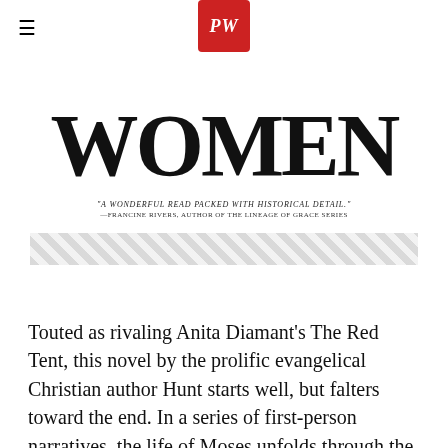PW (Publishers Weekly logo)
[Figure (photo): Partial book cover showing the word WOMEN in large bold serif type, with a blurb reading 'A WONDERFUL READ PACKED WITH HISTORICAL DETAIL.' —FRANCINE RIVERS, AUTHOR OF THE LINEAGE OF GRACE SERIES, followed by a decorative geometric band pattern]
Touted as rivaling Anita Diamant's The Red Tent, this novel by the prolific evangelical Christian author Hunt starts well, but falters toward the end. In a series of first-person narratives, the life of Moses unfolds through the eyes of three women: his sister Miryam, Egyptian foster mother Meryt[REDACTED]ah. Hunt's[REDACTED]